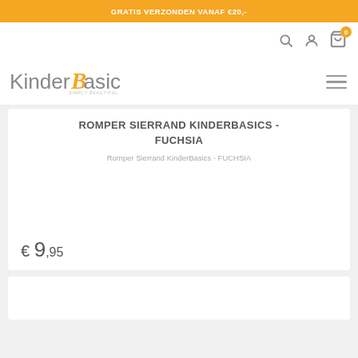GRATIS VERZONDEN VANAF €20,-
[Figure (logo): KinderBasics - Simply Beautiful logo with orange B letter]
ROMPER SIERRAND KINDERBASICS - FUCHSIA
Romper Sierrand KinderBasics - FUCHSIA
€ 9,95